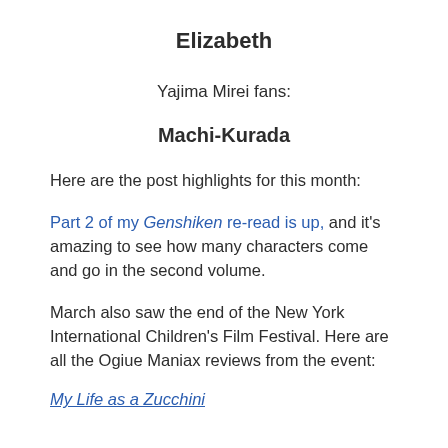Elizabeth
Yajima Mirei fans:
Machi-Kurada
Here are the post highlights for this month:
Part 2 of my Genshiken re-read is up, and it's amazing to see how many characters come and go in the second volume.
March also saw the end of the New York International Children's Film Festival. Here are all the Ogiue Maniax reviews from the event:
My Life as a Zucchini